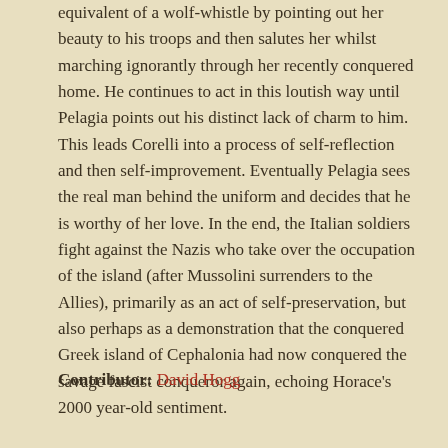equivalent of a wolf-whistle by pointing out her beauty to his troops and then salutes her whilst marching ignorantly through her recently conquered home. He continues to act in this loutish way until Pelagia points out his distinct lack of charm to him. This leads Corelli into a process of self-reflection and then self-improvement. Eventually Pelagia sees the real man behind the uniform and decides that he is worthy of her love. In the end, the Italian soldiers fight against the Nazis who take over the occupation of the island (after Mussolini surrenders to the Allies), primarily as an act of self-preservation, but also perhaps as a demonstration that the conquered Greek island of Cephalonia had now conquered the savage fascist conqueror again, echoing Horace's 2000 year-old sentiment.
Contributor: David Hogg